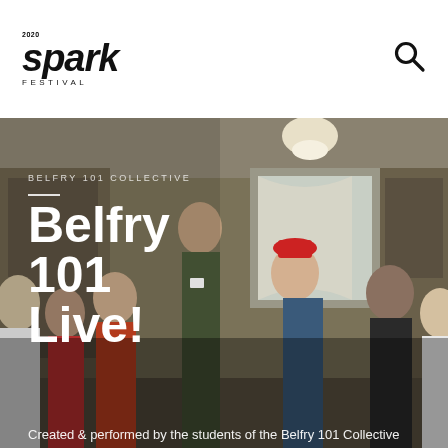2020 spark FESTIVAL
[Figure (photo): Group photo of young students on a theatre stage set resembling a kitchen/living room interior. Multiple teenagers and young adults posing energetically. Image serves as hero banner for Belfry 101 Live event listing.]
BELFRY 101 COLLECTIVE
Belfry 101 Live!
Created & performed by the students of the Belfry 101 Collective